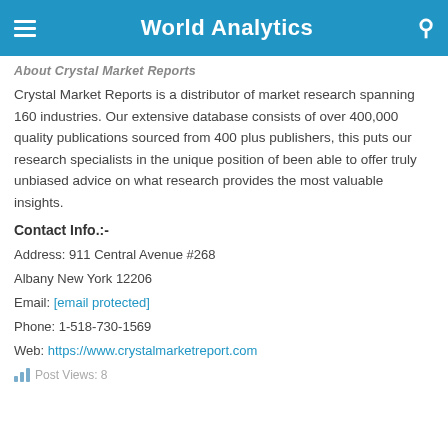World Analytics
About Crystal Market Reports
Crystal Market Reports is a distributor of market research spanning 160 industries. Our extensive database consists of over 400,000 quality publications sourced from 400 plus publishers, this puts our research specialists in the unique position of been able to offer truly unbiased advice on what research provides the most valuable insights.
Contact Info.:-
Address: 911 Central Avenue #268
Albany New York 12206
Email: [email protected]
Phone: 1-518-730-1569
Web: https://www.crystalmarketreport.com
Post Views: 8